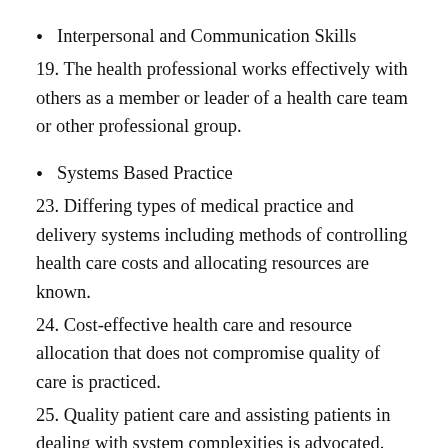Interpersonal and Communication Skills
19. The health professional works effectively with others as a member or leader of a health care team or other professional group.
Systems Based Practice
23. Differing types of medical practice and delivery systems including methods of controlling health care costs and allocating resources are known.
24. Cost-effective health care and resource allocation that does not compromise quality of care is practiced.
25. Quality patient care and assisting patients in dealing with system complexities is advocated.
26. Partnering with health care managers and health care providers to assess, coordinate, and improve health